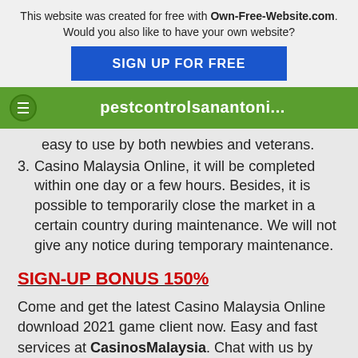This website was created for free with Own-Free-Website.com. Would you also like to have your own website? SIGN UP FOR FREE
pestcontrolsanantoni...
easy to use by both newbies and veterans.
3. Casino Malaysia Online, it will be completed within one day or a few hours. Besides, it is possible to temporarily close the market in a certain country during maintenance. We will not give any notice during temporary maintenance.
SIGN-UP BONUS 150%
Come and get the latest Casino Malaysia Online download 2021 game client now. Easy and fast services at CasinosMalaysia. Chat with us by livechat or whatsapp. Looking for more Online Slots update or latest news? You can get all the update at our official twitter, youtube and instagram Malaysia.